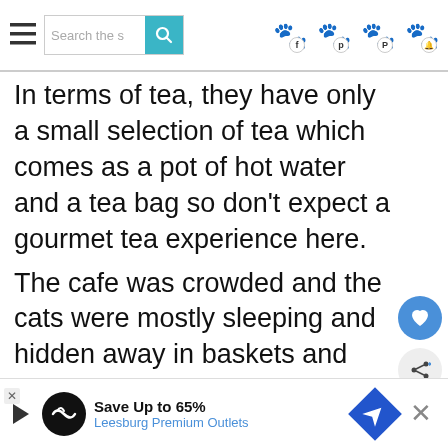Search the site | [paw icons]
In terms of tea, they have only a small selection of tea which comes as a pot of hot water and a tea bag so don't expect a gourmet tea experience here. The cafe was crowded and the cats were mostly sleeping and hidden away in baskets and shelves during our visit (I'd advise going in morning or evening when cats are more likely to be awake)
Although we were not that surprised the cats were sleeping, our experience
[Figure (screenshot): Advertisement banner: Save Up to 65% Leesburg Premium Outlets with navigation icon and close button]